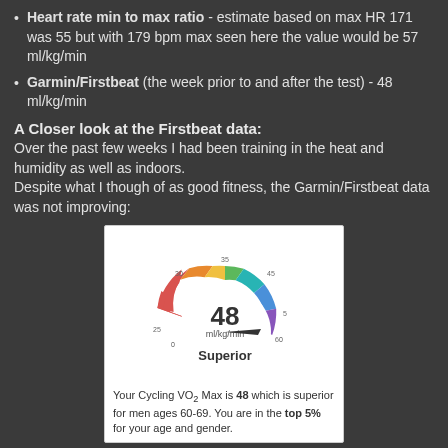Heart rate min to max ratio - estimate based on max HR 171 was 55 but with 179 bpm max seen here the value would be 57 ml/kg/min
Garmin/Firstbeat (the week prior to and after the test) - 48 ml/kg/min
A Closer look at the Firstbeat data:
Over the past few weeks I had been training in the heat and humidity as well as indoors.
Despite what I though of as good fitness, the Garmin/Firstbeat data was not improving:
[Figure (infographic): Garmin/Firstbeat VO2 Max gauge showing 48 ml/kg/min, rated Superior. A semicircular gauge with colored segments (red, orange, yellow, green, teal, blue, purple) with a needle pointing to 48. Text below: Your Cycling VO2 Max is 48 which is superior for men ages 60-69. You are in the top 5% for your age and gender.]